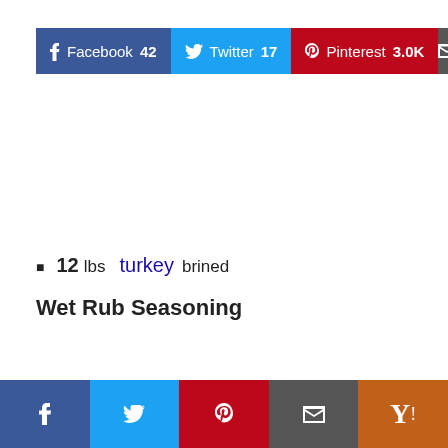[Figure (screenshot): Top social share bar with Facebook (42), Twitter (17), Pinterest (3.0K), and email buttons]
12 lbs turkey brined
Wet Rub Seasoning
[Figure (screenshot): Bottom sticky social share bar with Facebook, Twitter, Pinterest, email, and Yummly buttons]